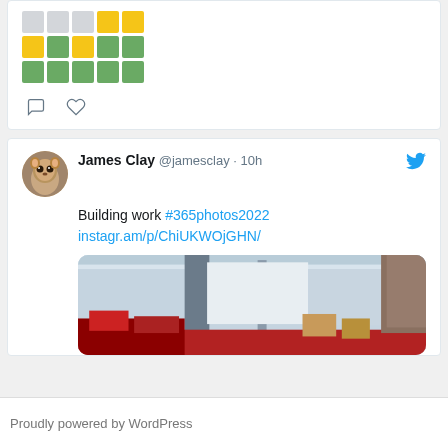[Figure (other): Wordle-style grid with colored squares: top row gray/gray/gray/yellow/yellow, middle row yellow/green/yellow/green/green, bottom row green/green/green/green/green]
[Figure (other): Comment bubble icon and heart icon]
James Clay @jamesclay · 10h
Building work #365photos2022 instagr.am/p/ChiUKWOjGHN/
[Figure (photo): Interior photo of a building under renovation showing structural columns, open ceiling, red furniture/equipment on floor]
Proudly powered by WordPress